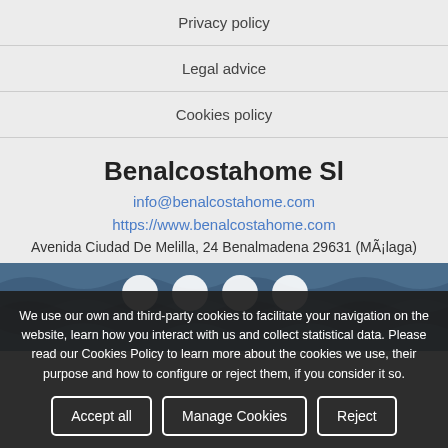Privacy policy
Legal advice
Cookies policy
Benalcostahome Sl
info@benalcostahome.com
https://www.benalcostahome.com
Avenida Ciudad De Melilla, 24 Benalmadena 29631 (MÃ¡laga)
[Figure (logo): Benalcostahome logo with wave pattern on blue background]
We use our own and third-party cookies to facilitate your navigation on the website, learn how you interact with us and collect statistical data. Please read our Cookies Policy to learn more about the cookies we use, their purpose and how to configure or reject them, if you consider it so.
Accept all | Manage Cookies | Reject